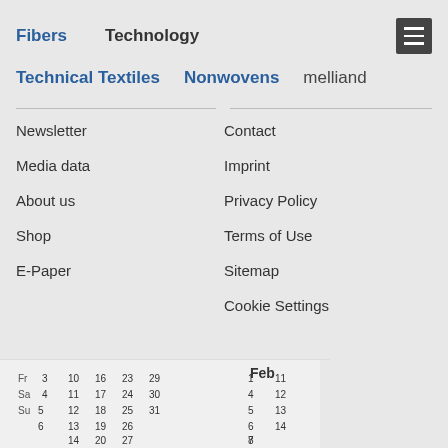Fibers   Technology
Technical Textiles   Nonwovens   melliand
Newsletter
Media data
About us
Shop
E-Paper
Contact
Imprint
Privacy Policy
Terms of Use
Sitemap
Cookie Settings
[Figure (photo): A calendar page showing dates in January and February, with days Fr, Sa, Su visible along with various date numbers]